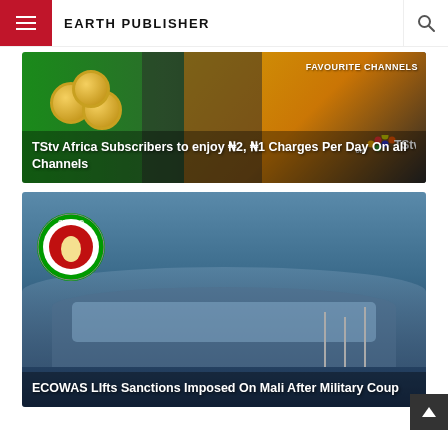EARTH PUBLISHER
[Figure (photo): TStv Africa advertisement showing coins and favourite channels branding with TStv logo]
TStv Africa Subscribers to enjoy ₦2, ₦1 Charges Per Day On all Channels
[Figure (photo): CEDEAO/ECOWAS building with logo showing African continent emblem, curved modern architecture]
ECOWAS LIfts Sanctions Imposed On Mali After Military Coup